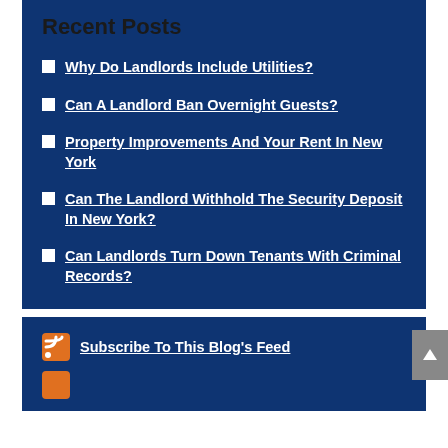Recent Posts
Why Do Landlords Include Utilities?
Can A Landlord Ban Overnight Guests?
Property Improvements And Your Rent In New York
Can The Landlord Withhold The Security Deposit In New York?
Can Landlords Turn Down Tenants With Criminal Records?
Subscribe To This Blog's Feed